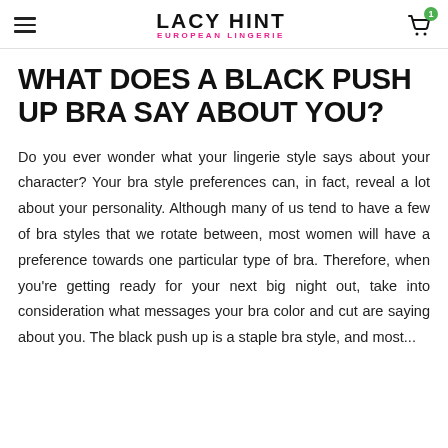LACY HINT EUROPEAN LINGERIE
WHAT DOES A BLACK PUSH UP BRA SAY ABOUT YOU?
Do you ever wonder what your lingerie style says about your character? Your bra style preferences can, in fact, reveal a lot about your personality. Although many of us tend to have a few of bra styles that we rotate between, most women will have a preference towards one particular type of bra. Therefore, when you're getting ready for your next big night out, take into consideration what messages your bra color and cut are saying about you. The black push up is a staple bra style, and most...